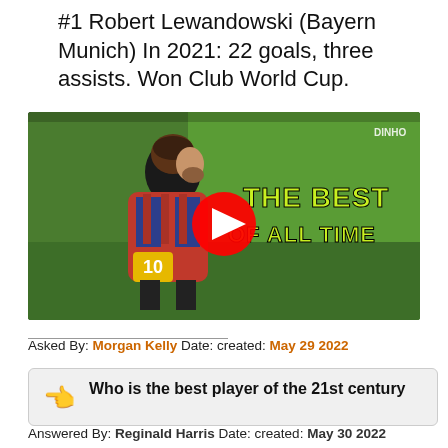#1 Robert Lewandowski (Bayern Munich) In 2021: 22 goals, three assists. Won Club World Cup.
[Figure (screenshot): YouTube video thumbnail showing Lionel Messi in a Barcelona jersey on a green field, with text 'THE BEST OF ALL TIME' and a red YouTube play button in the center. 'DINHO' watermark in top right corner.]
Asked By: Morgan Kelly Date: created: May 29 2022
Who is the best player of the 21st century
Answered By: Reginald Harris Date: created: May 30 2022